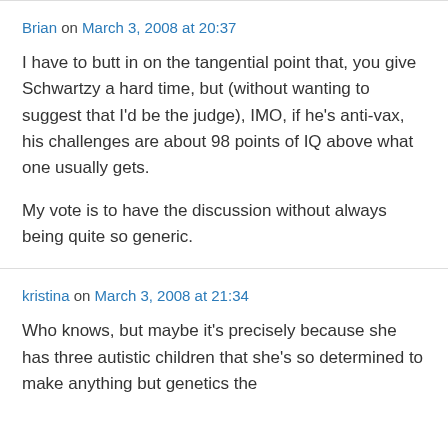Brian on March 3, 2008 at 20:37
I have to butt in on the tangential point that, you give Schwartzy a hard time, but (without wanting to suggest that I'd be the judge), IMO, if he's anti-vax, his challenges are about 98 points of IQ above what one usually gets.
My vote is to have the discussion without always being quite so generic.
kristina on March 3, 2008 at 21:34
Who knows, but maybe it's precisely because she has three autistic children that she's so determined to make anything but genetics the